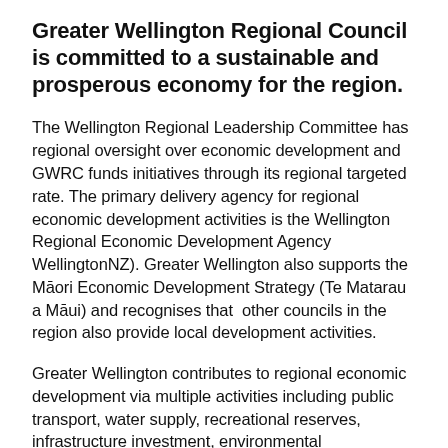Greater Wellington Regional Council is committed to a sustainable and prosperous economy for the region.
The Wellington Regional Leadership Committee has regional oversight over economic development and GWRC funds initiatives through its regional targeted rate. The primary delivery agency for regional economic development activities is the Wellington Regional Economic Development Agency WellingtonNZ). Greater Wellington also supports the Māori Economic Development Strategy (Te Matarau a Māui) and recognises that other councils in the region also provide local development activities.
Greater Wellington contributes to regional economic development via multiple activities including public transport, water supply, recreational reserves, infrastructure investment, environmental management, and it's shareholding in Centreport.
Greater Wellington and WellingtonNZ are leading the